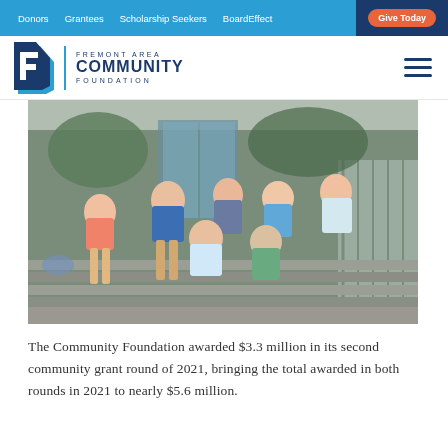Donors | Grantees | Scholarship Seekers | BoardEffect | Give Today
[Figure (logo): Fremont Area Community Foundation logo with stylized F icon and blue text]
[Figure (photo): Group of seven young girls sitting on outdoor steps, smiling at the camera, wearing colorful casual summer clothing]
The Community Foundation awarded $3.3 million in its second community grant round of 2021, bringing the total awarded in both rounds in 2021 to nearly $5.6 million.